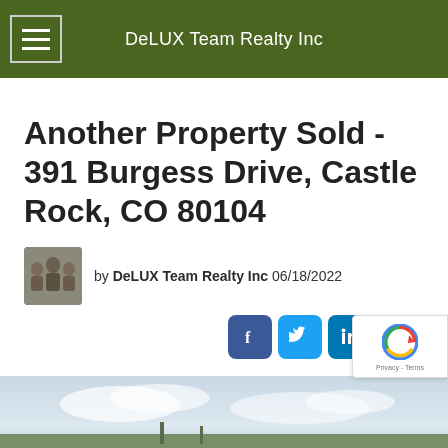DeLUX Team Realty Inc
Another Property Sold - 391 Burgess Drive, Castle Rock, CO 80104
by DeLUX Team Realty Inc 06/18/2022
[Figure (photo): Outdoor/sky photo, partial view at bottom of page]
[Figure (other): reCAPTCHA badge with Privacy and Terms links]